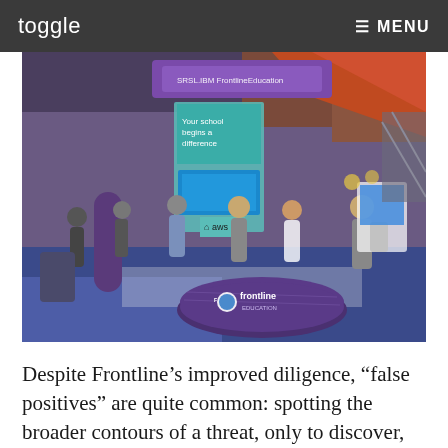toggle   ≡ MENU
[Figure (photo): Conference expo hall showing the Frontline Education booth with a circular purple reception desk branded 'frontline education'. Attendees and staff are visible, along with AWS signage and display screens showing educational content.]
Despite Frontline’s improved diligence, “false positives” are quite common: spotting the broader contours of a threat, only to discover, after much